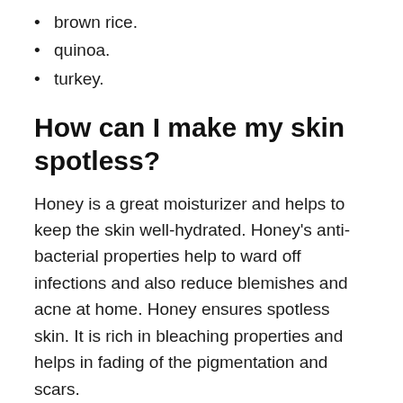brown rice.
quinoa.
turkey.
How can I make my skin spotless?
Honey is a great moisturizer and helps to keep the skin well-hydrated. Honey’s anti-bacterial properties help to ward off infections and also reduce blemishes and acne at home. Honey ensures spotless skin. It is rich in bleaching properties and helps in fading of the pigmentation and scars.
What causes acne on cheeks?